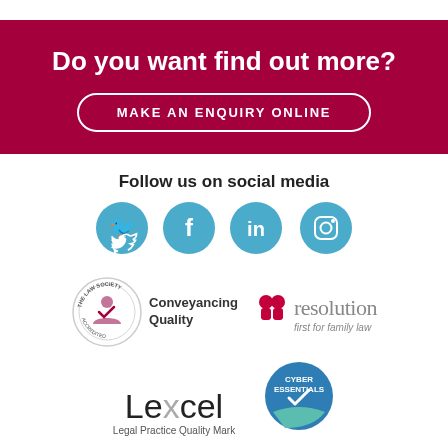Do you want find out more?
MAKE AN ENQUIRY ONLINE
Follow us on social media
[Figure (logo): Social media icons: Twitter, Facebook, LinkedIn, Instagram (teal circles)]
[Figure (logo): The Law Society Accredited - Conveyancing Quality badge]
[Figure (logo): Resolution - first for family law logo]
[Figure (logo): Lexcel Legal Practice Quality Mark logo]
[Figure (logo): Cyber Essentials badge]